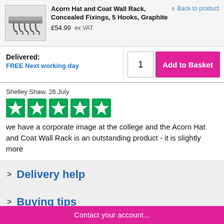Acorn Hat and Coat Wall Rack, Concealed Fixings, 5 Hooks, Graphite
£54.99  ex VAT
Back to product
Delivered:
FREE Next working day
1
Add to Basket
Shelley Shaw, 26 July
[Figure (other): Five green Trustpilot star rating boxes]
we have a corporate image at the college and the Acorn Hat and Coat Wall Rack is an outstanding product - it is slightly more
Delivery help
Buying tips
Contact your account...